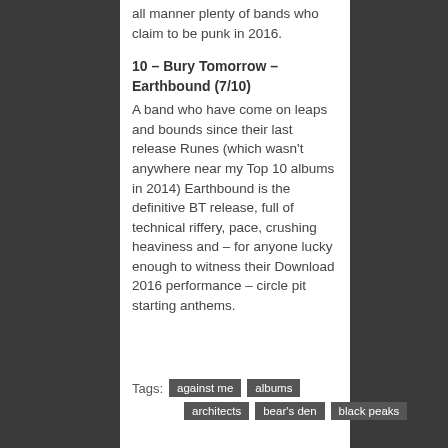all manner plenty of bands who claim to be punk in 2016.
10 – Bury Tomorrow – Earthbound (7/10)
A band who have come on leaps and bounds since their last release Runes (which wasn't anywhere near my Top 10 albums in 2014) Earthbound is the definitive BT release, full of technical riffery, pace, crushing heaviness and – for anyone lucky enough to witness their Download 2016 performance – circle pit starting anthems.
Tags: against me  albums  architects  bear's den  black peaks